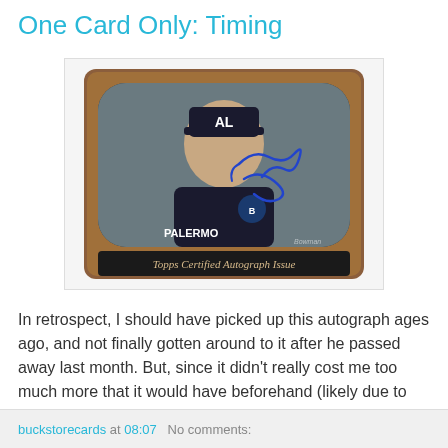One Card Only: Timing
[Figure (photo): A Bowman Certified Autograph baseball card featuring PALERMO wearing an AL cap, with a blue ink autograph across the card front. The card has a wood-grain frame design with a dark banner at the bottom reading 'Topps Certified Autograph Issue' in script.]
In retrospect, I should have picked up this autograph ages ago, and not finally gotten around to it after he passed away last month. But, since it didn't really cost me too much more that it would have beforehand (likely due to the ebay auction ending at 11:00 in the morning), I'll take it.
buckstorecards at 08:07   No comments: